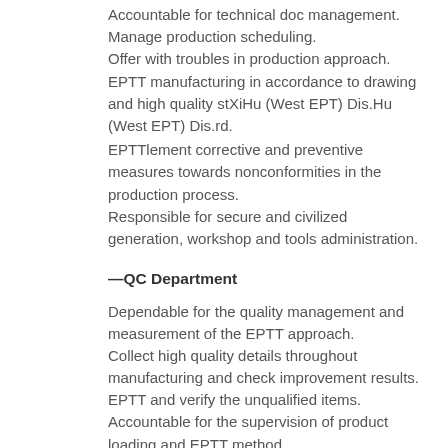Accountable for technical doc management.
Manage production scheduling.
Offer with troubles in production approach.
EPTT manufacturing in accordance to drawing and high quality stXiHu (West EPT) Dis.Hu (West EPT) Dis.rd.
EPTTlement corrective and preventive measures towards nonconformities in the production process.
Responsible for secure and civilized generation, workshop and tools administration.
—QC Department
Dependable for the quality management and measurement of the EPTT approach.
Collect high quality details throughout manufacturing and check improvement results.
EPTT and verify the unqualified items.
Accountable for the supervision of product loading and EPTT method.